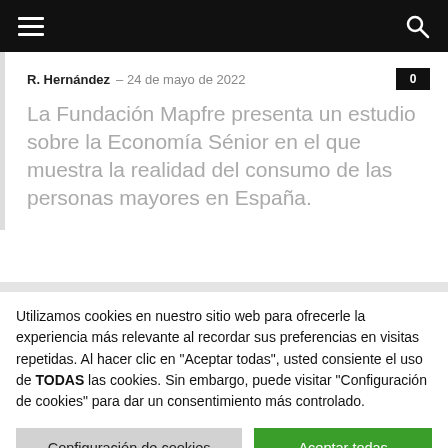Navigation bar with hamburger menu and search icon
R. Hernández – 24 de mayo de 2022  0
La Fundación Mapfre presenta un estudio sobre la Economía Sénior en el que muestra la realidad del consumo de las personas mayores en España.
Utilizamos cookies en nuestro sitio web para ofrecerle la experiencia más relevante al recordar sus preferencias en visitas repetidas. Al hacer clic en "Aceptar todas", usted consiente el uso de TODAS las cookies. Sin embargo, puede visitar "Configuración de cookies" para dar un consentimiento más controlado.
Configuración de cookies
Aceptar todas
Cambiar Idioma »